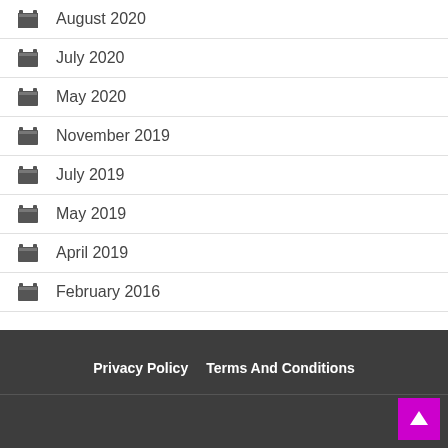August 2020
July 2020
May 2020
November 2019
July 2019
May 2019
April 2019
February 2016
Privacy Policy   Terms And Conditions